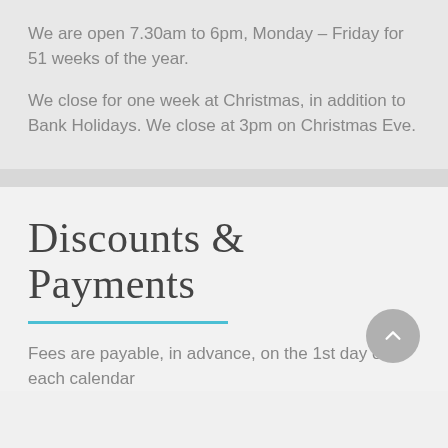We are open 7.30am to 6pm, Monday – Friday for 51 weeks of the year.
We close for one week at Christmas, in addition to Bank Holidays. We close at 3pm on Christmas Eve.
Discounts & Payments
Fees are payable, in advance, on the 1st day of each calendar month, unless by standing order.